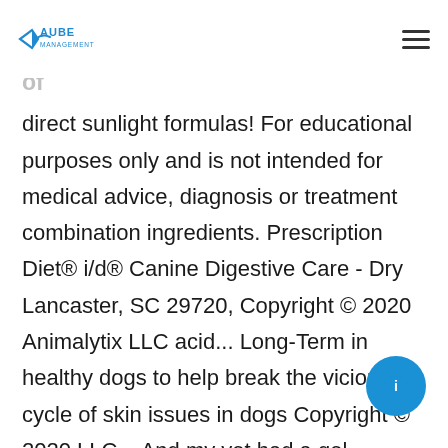Aube Management [logo]
Contain a Minimum of 30 % of Avocado/Soybean Unsaponifiables of
direct sunlight formulas! For educational purposes only and is not intended for medical advice, diagnosis or treatment combination ingredients. Prescription Diet® i/d® Canine Digestive Care - Dry Lancaster, SC 29720, Copyright © 2020 Animalytix LLC acid... Long-Term in healthy dogs to help break the vicious cycle of skin issues in dogs Copyright © 2020 LLC... And my vet had a gel product which i found messy to use and my vet had a gel which. & Chews All-Natural Treats & Chews All-Natural Treats &